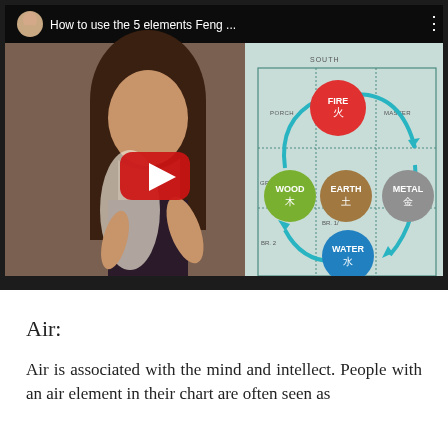[Figure (screenshot): YouTube video thumbnail showing a woman speaking, with a Feng Shui 5 elements floor plan diagram visible on the right side. The video title reads 'How to use the 5 elements Feng ...' with a red YouTube play button overlay in the center.]
Air:
Air is associated with the mind and intellect. People with an air element in their chart are often seen as...